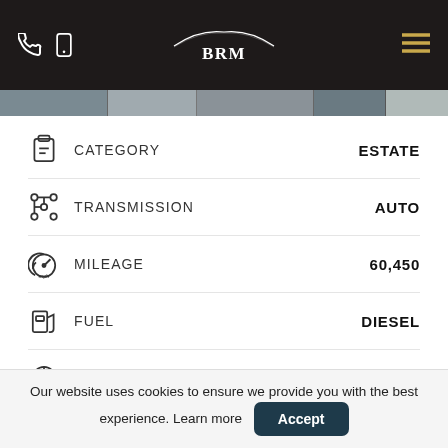BRM
CATEGORY — ESTATE
TRANSMISSION — AUTO
MILEAGE — 60,450
FUEL — DIESEL
CC — 2,199CC
YEAR — 2012
Our website uses cookies to ensure we provide you with the best experience. Learn more